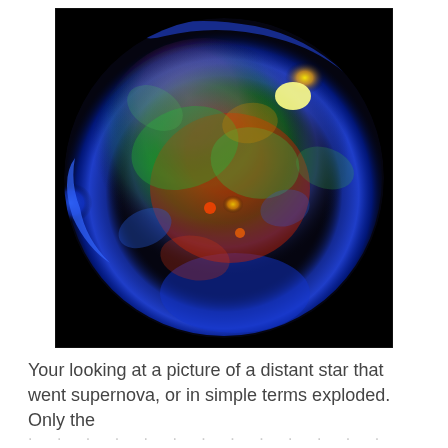[Figure (photo): A false-color X-ray/optical composite image of a supernova remnant (likely Kepler's supernova remnant), showing a roughly spherical shell of glowing gas with vivid colors: blue along the outer rim, green and red in the interior, and bright yellow-orange hotspots at upper right and center. The background is black.]
Your looking at a picture of a distant star that went supernova, or in simple terms exploded.  Only the